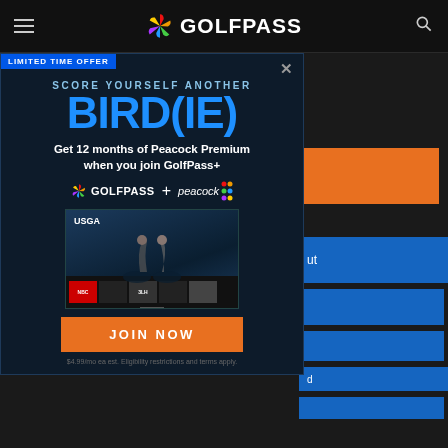GOLFPASS
Book a Tee Time at
The Dunes at Maui Lani
Powered by GolfNow.com
[Figure (screenshot): GolfPass promotional modal ad: 'LIMITED TIME OFFER - SCORE YOURSELF ANOTHER BIRD(IE) - Get 12 months of Peacock Premium when you join GolfPass+' with GolfPass + Peacock logos, TV screenshot showing USGA content, JOIN NOW orange button, and fine print '$4.99/mo ea est. Eligibility restrictions and terms apply.']